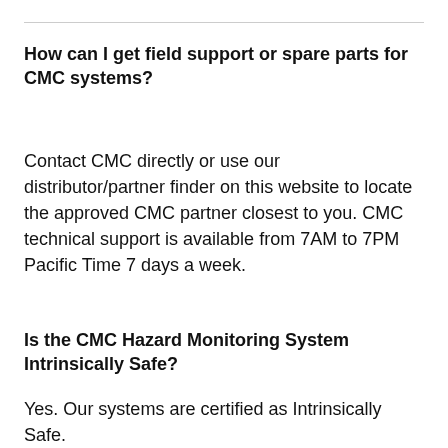How can I get field support or spare parts for CMC systems?
Contact CMC directly or use our distributor/partner finder on this website to locate the approved CMC partner closest to you. CMC technical support is available from 7AM to 7PM Pacific Time 7 days a week.
Is the CMC Hazard Monitoring System Intrinsically Safe?
Yes. Our systems are certified as Intrinsically Safe.